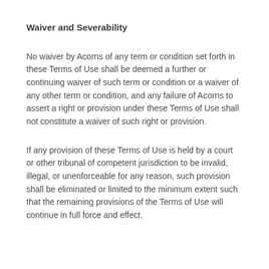Waiver and Severability
No waiver by Acorns of any term or condition set forth in these Terms of Use shall be deemed a further or continuing waiver of such term or condition or a waiver of any other term or condition, and any failure of Acorns to assert a right or provision under these Terms of Use shall not constitute a waiver of such right or provision.
If any provision of these Terms of Use is held by a court or other tribunal of competent jurisdiction to be invalid, illegal, or unenforceable for any reason, such provision shall be eliminated or limited to the minimum extent such that the remaining provisions of the Terms of Use will continue in full force and effect.